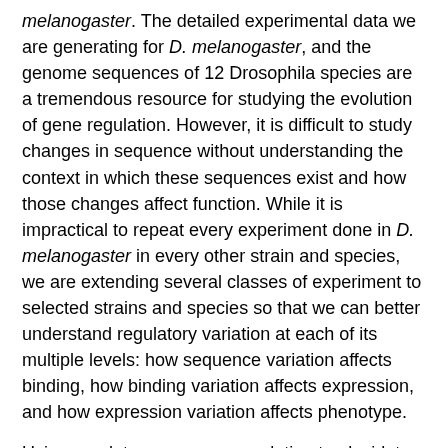melanogaster. The detailed experimental data we are generating for D. melanogaster, and the genome sequences of 12 Drosophila species are a tremendous resource for studying the evolution of gene regulation. However, it is difficult to study changes in sequence without understanding the context in which these sequences exist and how those changes affect function. While it is impractical to repeat every experiment done in D. melanogaster in every other strain and species, we are extending several classes of experiment to selected strains and species so that we can better understand regulatory variation at each of its multiple levels: how sequence variation affects binding, how binding variation affects expression, and how expression variation affects phenotype.
Using regulatory sequence evolution to elucidate the mechanisms of gene regulation
To take advantage of sequence diversity outside of the genus Drosophila, we are sequencing developmentally important loci from several non-Drosophilid fly families to